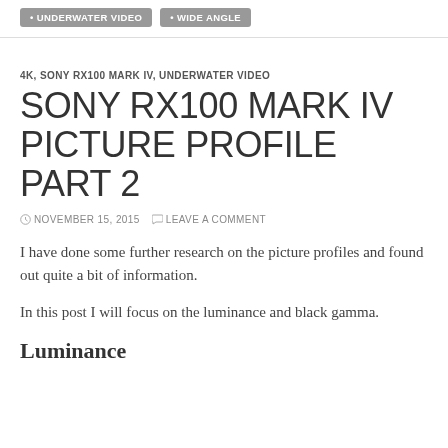UNDERWATER VIDEO
WIDE ANGLE
4K, SONY RX100 MARK IV, UNDERWATER VIDEO
SONY RX100 MARK IV PICTURE PROFILE PART 2
NOVEMBER 15, 2015   LEAVE A COMMENT
I have done some further research on the picture profiles and found out quite a bit of information.
In this post I will focus on the luminance and black gamma.
Luminance